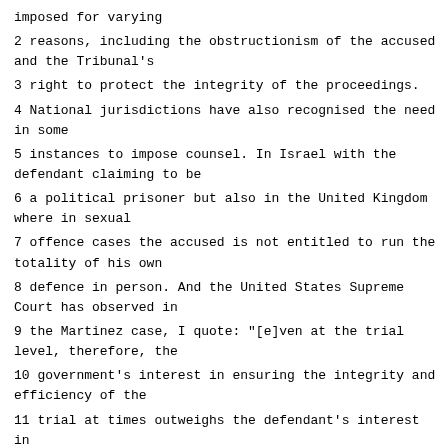imposed for varying
2 reasons, including the obstructionism of the accused and the Tribunal's
3 right to protect the integrity of the proceedings.
4 National jurisdictions have also recognised the need in some
5 instances to impose counsel. In Israel with the defendant claiming to be
6 a political prisoner but also in the United Kingdom where in sexual
7 offence cases the accused is not entitled to run the totality of his own
8 defence in person. And the United States Supreme Court has observed in
9 the Martinez case, I quote: "[e]ven at the trial level, therefore, the
10 government's interest in ensuring the integrity and efficiency of the
11 trial at times outweighs the defendant's interest in acting as his own